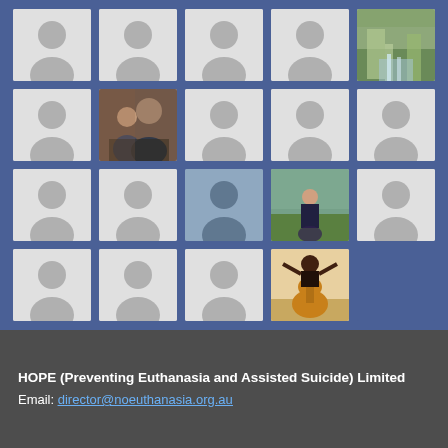[Figure (screenshot): Grid of Facebook-style profile thumbnails on a blue background. 4 rows x 5 columns of profile pictures. Most are grey placeholder silhouettes. Row 1: 4 grey placeholders + 1 nature/waterfall photo. Row 2: 1 grey placeholder + 1 photo of two people + 3 grey placeholders. Row 3: 2 grey placeholders + 1 blue-toned placeholder silhouette + 1 outdoor person photo + 1 grey placeholder. Row 4: 3 grey placeholders + 1 guitar photo + 1 absent.]
HOPE (Preventing Euthanasia and Assisted Suicide) Limited
Email: director@noeuthanasia.org.au